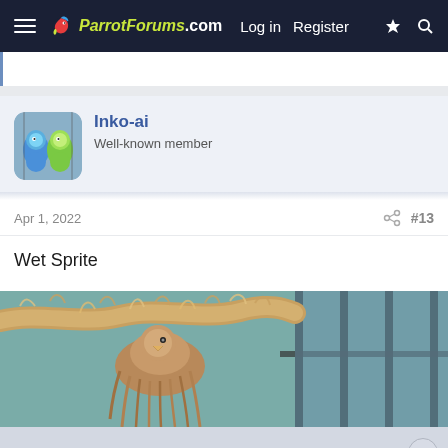ParrotForums.com  Log in  Register
[Figure (screenshot): User avatar showing two budgies (parakeets) sitting together]
Inko-ai
Well-known member
Apr 1, 2022
#13
Wet Sprite
[Figure (photo): Close-up photo of a wet bird (likely a budgie or small parrot) clinging to what appears to be a rope perch, with a cage visible in the background]